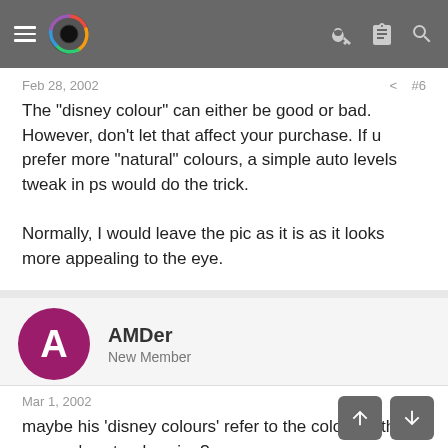Feb 28, 2002   #6
The "disney colour" can either be good or bad. However, don't let that affect your purchase. If u prefer more "natural" colours, a simple auto levels tweak in ps would do the trick.

Normally, I would leave the pic as it is as it looks more appealing to the eye.
AMDer
New Member
Mar 1, 2002   #7
maybe his 'disney colours' refer to the colour of the camera's exteral casing?